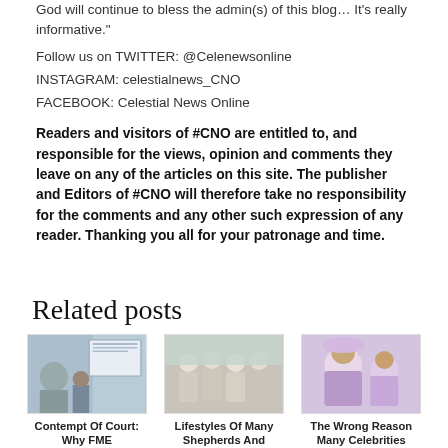God will continue to bless the admin(s) of this blog… It's really informative."
Follow us on TWITTER: @Celenewsonline
INSTAGRAM: celestialnews_CNO
FACEBOOK: Celestial News Online
Readers and visitors of #CNO are entitled to, and responsible for the views, opinion and comments they leave on any of the articles on this site. The publisher and Editors of #CNO will therefore take no responsibility for the comments and any other such expression of any reader. Thanking you all for your patronage and time.
Related posts
[Figure (photo): Thumbnail image for 'Contempt Of Court: Why FME...' article]
Contempt Of Court: Why FME
[Figure (photo): Thumbnail image for 'Lifestyles Of Many Shepherds And...' article]
Lifestyles Of Many Shepherds And
[Figure (photo): Thumbnail image for 'The Wrong Reason Many Celebrities...' article]
The Wrong Reason Many Celebrities